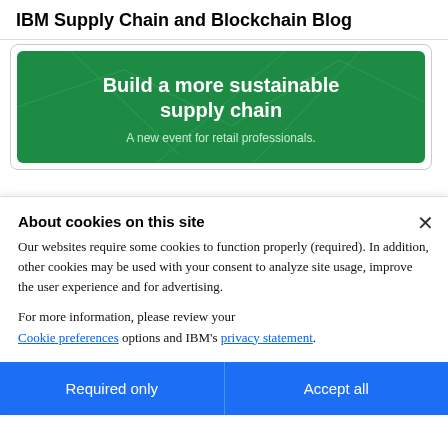IBM Supply Chain and Blockchain Blog
[Figure (illustration): Green banner card with text 'Build a more sustainable supply chain' and subtitle 'A new event for retail professionals.']
About cookies on this site
Our websites require some cookies to function properly (required). In addition, other cookies may be used with your consent to analyze site usage, improve the user experience and for advertising.
For more information, please review your Cookie preferences options and IBM's privacy statement.